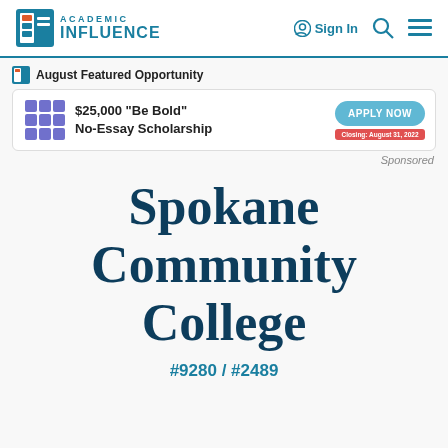Academic Influence — Sign In
[Figure (infographic): August Featured Opportunity ad banner: $25,000 Be Bold No-Essay Scholarship with Apply Now button, Closing August 31 2022]
Sponsored
Spokane Community College
#9280 / #2489